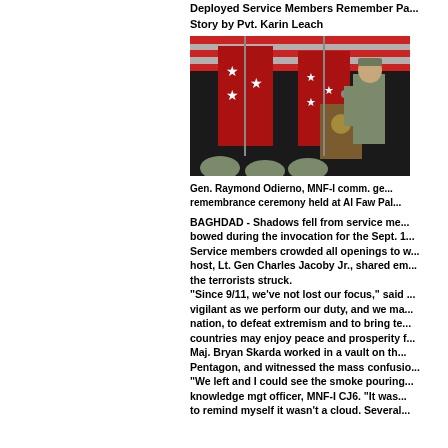Deployed Service Members Remember Pa...
Story by Pvt. Karin Leach
[Figure (photo): Gen. Raymond Odierno in military uniform standing at a podium with military red star flags in the background at a remembrance ceremony at Al Faw Palace]
Gen. Raymond Odierno, MNF-I comm. ge... remembrance ceremony held at Al Faw Pal...
BAGHDAD - Shadows fell from service me... bowed during the invocation for the Sept. 1... Service members crowded all openings to w... host, Lt. Gen Charles Jacoby Jr., shared em... the terrorists struck. "Since 9/11, we've not lost our focus," said ... vigilant as we perform our duty, and we ma... nation, to defeat extremism and to bring te... countries may enjoy peace and prosperity f... Maj. Bryan Skarda worked in a vault on th... Pentagon, and witnessed the mass confusio... "We left and I could see the smoke pouring... knowledge mgt officer, MNF-I CJ6. "It was... to remind myself it wasn't a cloud. Several...